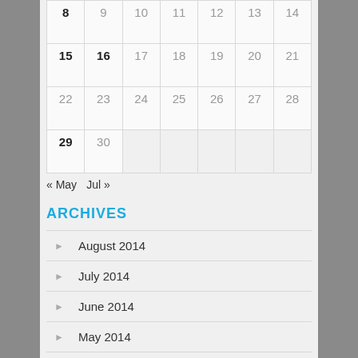| 8 | 9 | 10 | 11 | 12 | 13 | 14 |
| 15 | 16 | 17 | 18 | 19 | 20 | 21 |
| 22 | 23 | 24 | 25 | 26 | 27 | 28 |
| 29 | 30 |  |  |  |  |  |
« May   Jul »
ARCHIVES
August 2014
July 2014
June 2014
May 2014
April 2014